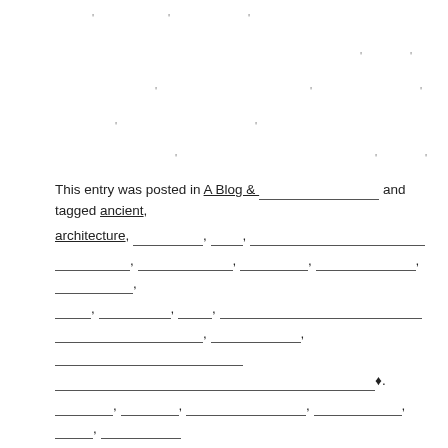[Figure (other): Redacted/blurred text block showing scattered apostrophe-like characters on white background, representing obscured content]
This entry was posted in A Blog & __________ and tagged ancient, architecture, __________, _____, ________________________________ __________, _____________, _________, ______________, ___________, _____, _________, ____, ___________________________________ __________________, ___________, __________________________________ _________________________________________________________________ ?, ________, ________, ________________, __________, _____, __________ ______________, ________________________________, ____, ___________, background, beautiful, bridge, calm, construction, decrepit, detail, dilapidated, foot-bridge, horizontal, image, isolated, isolation, jetty, line, natural, nature, nobody, object, obsolete, old, outdated, outdoors, photo, pillar, plain, plate, range, river, rotten, rough,